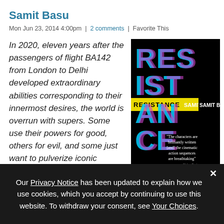Samit Basu
Mon Jun 23, 2014 4:00pm | 2 comments | Favorite This
In 2020, eleven years after the passengers of flight BA142 from London to Delhi developed extraordinary abilities corresponding to their innermost desires, the world is overrun with supers. Some use their powers for good, others for evil, and some just want to pulverize iconic monuments and star
[Figure (photo): Book cover of 'Resistance' by Samit Basu — black background with large glitchy cyan and magenta letters spelling RESISTANCE, a yellow highlight band with the title and author name, and a quote: 'The characters are brilliantly written [and] the cinematic action sequences are breathtaking']
Our Privacy Notice has been updated to explain how we use cookies, which you accept by continuing to use this website. To withdraw your consent, see Your Choices.